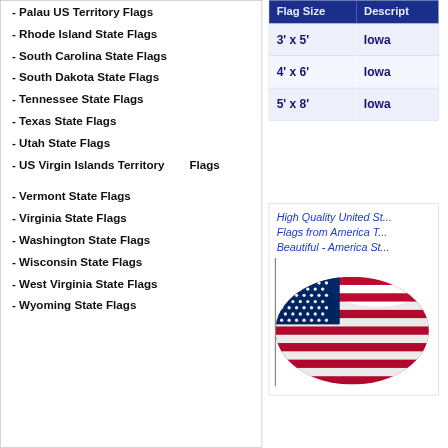- Palau US Territory Flags
- Rhode Island State Flags
- South Carolina State Flags
- South Dakota State Flags
- Tennessee State Flags
- Texas State Flags
- Utah State Flags
- US Virgin Islands Territory   Flags
- Vermont State Flags
- Virginia State Flags
- Washington State Flags
- Wisconsin State Flags
- West Virginia State Flags
- Wyoming State Flags
| Flag Size | Description |
| --- | --- |
| 3' x 5' | Iowa |
| 4' x 6' | Iowa |
| 5' x 8' | Iowa |
High Quality United St... Flags from America T... Beautiful - America St...
[Figure (photo): American flag waving, showing red and white stripes with blue field and white stars]